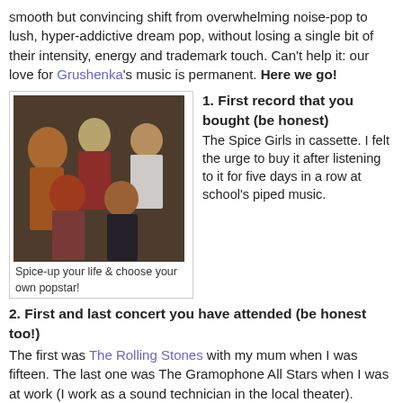smooth but convincing shift from overwhelming noise-pop to lush, hyper-addictive dream pop, without losing a single bit of their intensity, energy and trademark touch. Can't help it: our love for Grushenka's music is permanent. Here we go!
[Figure (photo): Group photo of the Spice Girls, five women posing together]
Spice-up your life & choose your own popstar!
1. First record that you bought (be honest)
The Spice Girls in cassette. I felt the urge to buy it after listening to it for five days in a row at school's piped music.
2. First and last concert you have attended (be honest too!)
The first was The Rolling Stones with my mum when I was fifteen. The last one was The Gramophone All Stars when I was at work (I work as a sound technician in the local theater).